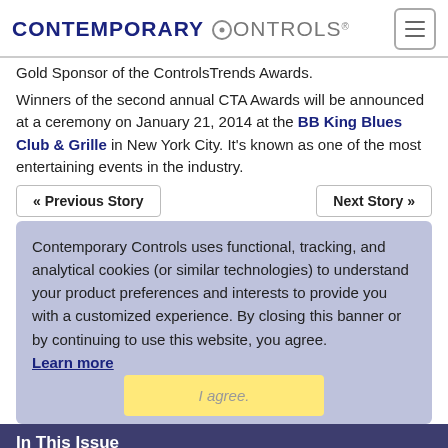CONTEMPORARY CONTROLS
Gold Sponsor of the ControlsTrends Awards.
Winners of the second annual CTA Awards will be announced at a ceremony on January 21, 2014 at the BB King Blues Club & Grille in New York City. It's known as one of the most entertaining events in the industry.
« Previous Story   Next Story »
Contemporary Controls uses functional, tracking, and analytical cookies (or similar technologies) to understand your product preferences and interests to provide you with a customized experience. By closing this banner or by continuing to use this website, you agree.
Learn more
In This Issue
Looking Forward to SPS IPC Drives 2013
Contemporary Controls Nominated for ControlTrends Award
BASrouterLX Advanced Slave Proxy Feature Benefits